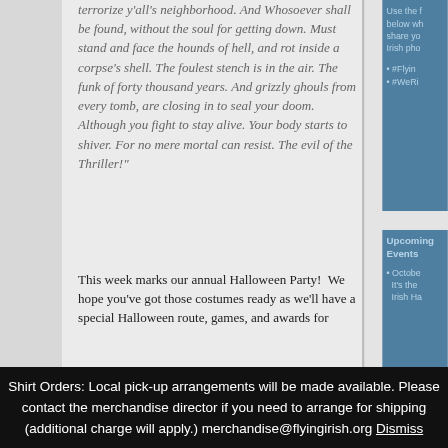terrorize y'all's neighborhood. And Whosoever shall be found, without the soul for getting down. Must stand and face the hounds of hell, and rot inside a corpse's shell. The foulest stench is in the air. The funk of forty thousand years. And grizzly ghouls from every tomb, are closing in to seal your doom. Although you fight to stay alive. Your body starts to shiver. For no mere mortal can resist. The evil of the Thriller!"
This week marks our annual Halloween Party!  We hope you've got those costumes ready as we'll have a special Halloween route, games, and awards for
Use the f below wh share yo Irish pho
#Flyin
#WeRi
Upcoming Events
Octobe It's the Irish Ha
Shirt Orders: Local pick-up arrangements will be made available. Please contact the merchandise director if you need to arrange for shipping (additional charge will apply.) merchandise@flyingirish.org Dismiss